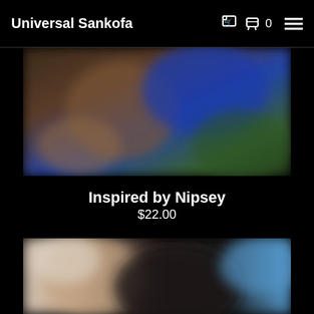Universal Sankofa
[Figure (photo): Blurred product image showing a colorful item with blue and earth tones against a green background]
Inspired by Nipsey
$22.00
[Figure (photo): Blurred product image showing a person wearing a dark beanie hat against a blue sky background]